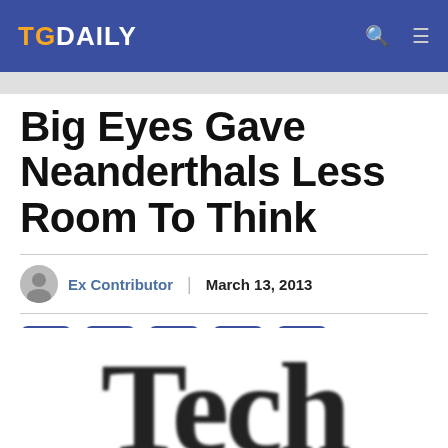TGDAILY
Big Eyes Gave Neanderthals Less Room To Think
Ex Contributor | March 13, 2013
[Figure (other): Social sharing buttons: Facebook, WhatsApp, Twitter, LinkedIn, Email]
[Figure (other): Partial blurred image showing large serif text 'Tech']